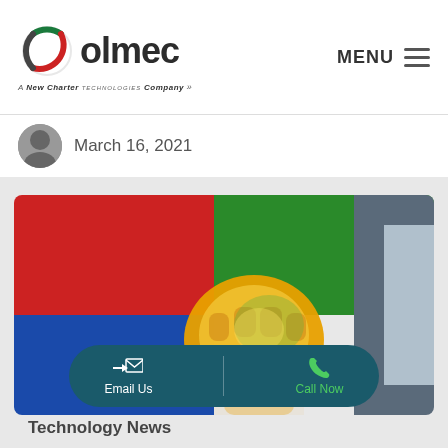[Figure (logo): Olmec logo with circular emblem and 'A New Charter Technologies Company' tagline]
MENU
March 16, 2021
[Figure (photo): A fist punching through a colorful (red, green, blue, yellow) Windows-style logo on a blurred background, held by a person in a suit]
Email Us
Call Now
Technology News